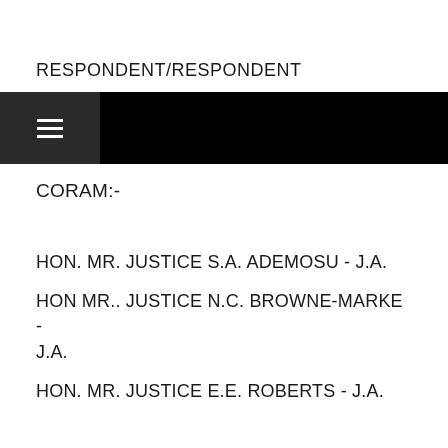RESPONDENT/RESPONDENT
CORAM:-
HON. MR. JUSTICE S.A. ADEMOSU - J.A.
HON MR.. JUSTICE N.C. BROWNE-MARKE - J.A.
HON. MR. JUSTICE E.E. ROBERTS - J.A.
ADVOCATES:-